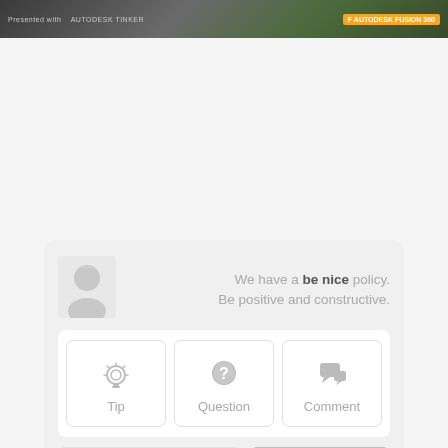[Figure (screenshot): Top banner showing Autodesk TinkerCAD and Autodesk Fusion 360 logos on a dark background with green plants]
[Figure (screenshot): Comment submission UI card with avatar, be nice policy text, Tip/Question/Comment buttons, Add Images button, and Post button]
We have a be nice policy. Be positive and constructive.
Tip
Question
Comment
Add Images
Post